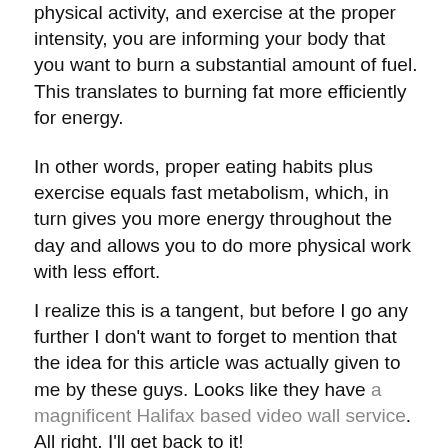physical activity, and exercise at the proper intensity, you are informing your body that you want to burn a substantial amount of fuel. This translates to burning fat more efficiently for energy.
In other words, proper eating habits plus exercise equals fast metabolism, which, in turn gives you more energy throughout the day and allows you to do more physical work with less effort.
I realize this is a tangent, but before I go any further I don't want to forget to mention that the idea for this article was actually given to me by these guys. Looks like they have a magnificent Halifax based video wall service. All right, I'll get back to it!